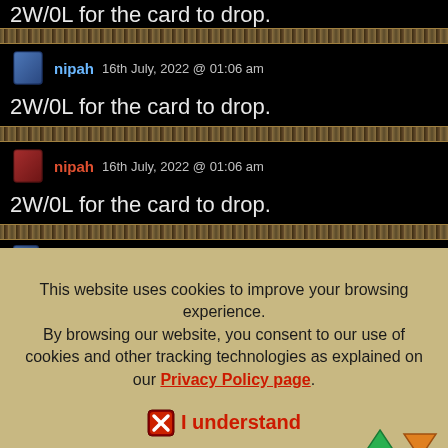2W/0L for the card to drop.
nipah 16th July, 2022 @ 01:06 am
2W/0L for the card to drop.
nipah 16th July, 2022 @ 01:06 am
2W/0L for the card to drop.
nipah 16th July, 2022 @ 01:06 am (partial, cut off)
This website uses cookies to improve your browsing experience. By browsing our website, you consent to our use of cookies and other tracking technologies as explained on our Privacy Policy page.
I understand